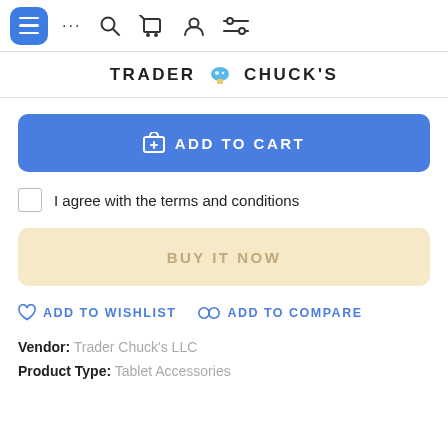Navigation bar with menu, search, cart, account, and settings icons
[Figure (logo): Trader Chuck's logo with mushroom icon]
ADD TO CART
I agree with the terms and conditions
BUY IT NOW
ADD TO WISHLIST   ADD TO COMPARE
Vendor: Trader Chuck's LLC
Product Type: Tablet Accessories